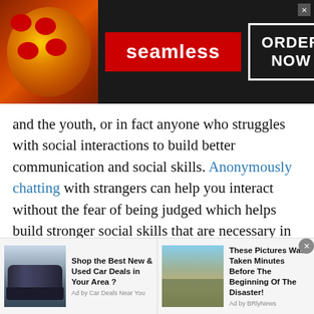[Figure (screenshot): Seamless food delivery advertisement banner with pizza image on left, Seamless logo in red center, and ORDER NOW box on right with close button]
and the youth, or in fact anyone who struggles with social interactions to build better communication and social skills. Anonymously chatting with strangers can help you interact without the fear of being judged which helps build stronger social skills that are necessary in today's world. This means by interacting on a digital platform, you can actually improve your face-to-face interactions in the real world.
Georgian Talk & Text : A Way to
[Figure (screenshot): Two bottom advertisement items: left ad shows a car with text 'Shop the Best New & Used Car Deals in Your Area?' by Car Deals Near You; right ad shows flood scene with text 'These Pictures Was Taken Minutes Before The Beginning Of The Disaster!' by BRlyNews]